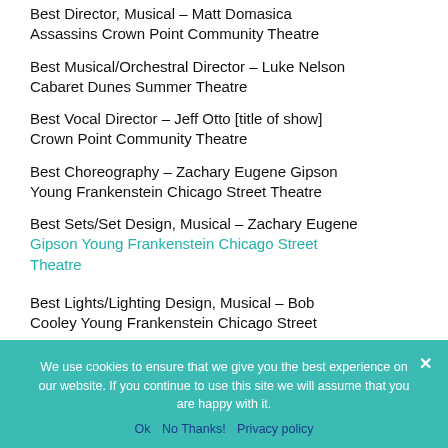Best Director, Musical – Matt Domasica Assassins Crown Point Community Theatre
Best Musical/Orchestral Director – Luke Nelson Cabaret Dunes Summer Theatre
Best Vocal Director – Jeff Otto [title of show] Crown Point Community Theatre
Best Choreography – Zachary Eugene Gipson Young Frankenstein Chicago Street Theatre
Best Sets/Set Design, Musical – Zachary Eugene Gipson Young Frankenstein Chicago Street Theatre
Best Lights/Lighting Design, Musical – Bob Cooley Young Frankenstein Chicago Street
We use cookies to ensure that we give you the best experience on our website. If you continue to use this site we will assume that you are happy with it.